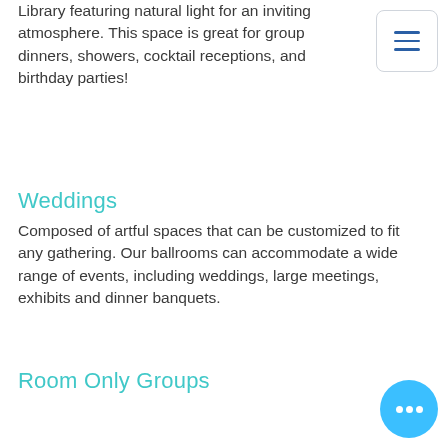Library featuring natural light for an inviting atmosphere. This space is great for group dinners, showers, cocktail receptions, and birthday parties!
Weddings
Composed of artful spaces that can be customized to fit any gathering. Our ballrooms can accommodate a wide range of events, including weddings, large meetings, exhibits and dinner banquets.
Room Only Groups
Needing guestrooms with no meeting or event space? We make it quick and easy for you to reserve your rooms with us.
For more information on hosting a private event with 30 Park at the Hilton Garden Inn, please contact our team by filling the form below.